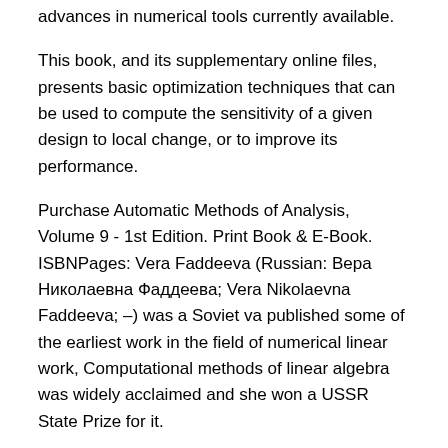advances in numerical tools currently available.
This book, and its supplementary online files, presents basic optimization techniques that can be used to compute the sensitivity of a given design to local change, or to improve its performance.
Purchase Automatic Methods of Analysis, Volume 9 - 1st Edition. Print Book & E-Book. ISBNPages: Vera Faddeeva (Russian: Вера Николаевна Фаддеева; Vera Nikolaevna Faddeeva; –) was a Soviet va published some of the earliest work in the field of numerical linear work, Computational methods of linear algebra was widely acclaimed and she won a USSR State Prize for it.
Between andshe wrote many research papers Born: Vera Nikolaevna Zamyatin, 20 September. An Introduction to SAGE Programming: With Applications to SAGE Interacts for Numerical Methods is an ideal reference for applied mathematicians who need to employ SAGE for the study of numerical methods and analysis.
The book is also an appropriate supplemental textbook for upper-undergraduate and graduate-level courses in numerical methods.